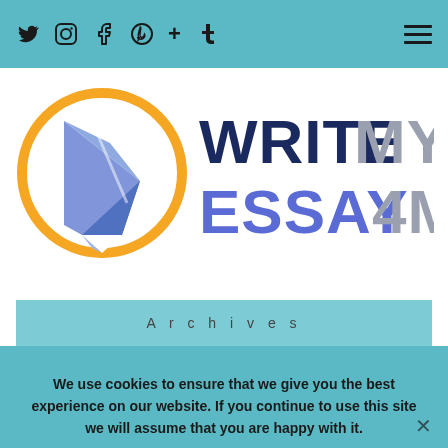Social media icons: Twitter, Instagram, Facebook, Pinterest, Google+, Tumblr; Hamburger menu
[Figure (logo): WriteMyEssay4Me logo: blue pen nib inside an orange circle on the left, and the text WRITE MY ESSAY 4ME on the right with WRITE in dark navy, MY in gray, ESSAY in blue-purple, 4ME in gray]
Archives
We use cookies to ensure that we give you the best experience on our website. If you continue to use this site we will assume that you are happy with it.